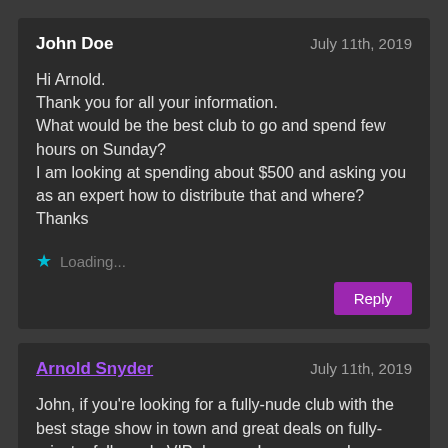John Doe — July 11th, 2019
Hi Arnold.
Thank you for all your information.
What would be the best club to go and spend few hours on Sunday?
I am looking at spending about $500 and asking you as an expert how to distribute that and where?
Thanks
★ Loading...
[Reply]
Arnold Snyder — July 11th, 2019
John, if you're looking for a fully-nude club with the best stage show in town and great deals on fully-private, fully-nude VIP dances, I recommend Palomino on a